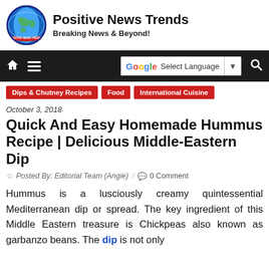Positive News Trends — Breaking News & Beyond!
Navigation bar with home, menu, Google Translate, and search
Dips & Chutney Recipes
Food
International Cuisine
October 3, 2018
Quick And Easy Homemade Hummus Recipe | Delicious Middle-Eastern Dip
Posted By: Editorial Team (Angie) / 0 Comment
Hummus is a lusciously creamy quintessential Mediterranean dip or spread. The key ingredient of this Middle Eastern treasure is Chickpeas also known as garbanzo beans. The dip is not only